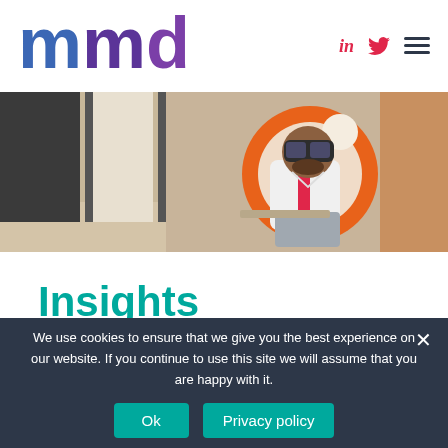[Figure (logo): mmd logo in purple/teal lettering]
[Figure (photo): Man wearing VR headset seated in a round orange pod chair in a modern office setting]
Insights
We use cookies to ensure that we give you the best experience on our website. If you continue to use this site we will assume that you are happy with it.
Ok
Privacy policy